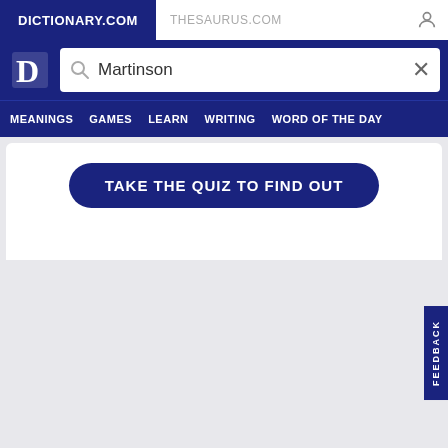DICTIONARY.COM   THESAURUS.COM
[Figure (screenshot): Dictionary.com logo with white D letter on dark blue background]
Martinson
MEANINGS   GAMES   LEARN   WRITING   WORD OF THE DAY
TAKE THE QUIZ TO FIND OUT
FEEDBACK